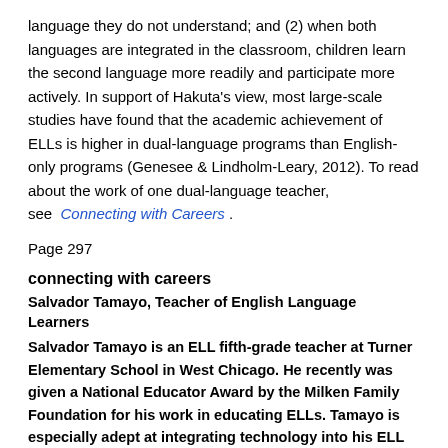language they do not understand; and (2) when both languages are integrated in the classroom, children learn the second language more readily and participate more actively. In support of Hakuta's view, most large-scale studies have found that the academic achievement of ELLs is higher in dual-language programs than English-only programs (Genesee & Lindholm-Leary, 2012). To read about the work of one dual-language teacher, see Connecting with Careers .
Page 297
connecting with careers
Salvador Tamayo, Teacher of English Language Learners
Salvador Tamayo is an ELL fifth-grade teacher at Turner Elementary School in West Chicago. He recently was given a National Educator Award by the Milken Family Foundation for his work in educating ELLs. Tamayo is especially adept at integrating technology into his ELL classes. He and his students have created several award-winning Web sites about the West Chicago City Museum, the local Latino community, and the history of West Chicago. His students also developed an “I W to Be an American Citizen” Web site to assist family and